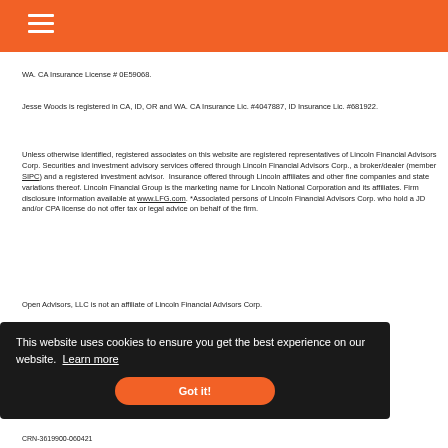WA. CA Insurance License # 0E59068.
Jesse Woods is registered in CA, ID, OR and WA. CA Insurance Lic. #4047887, ID Insurance Lic. #681922.
Unless otherwise identified, registered associates on this website are registered representatives of Lincoln Financial Advisors Corp. Securities and investment advisory services offered through Lincoln Financial Advisors Corp., a broker/dealer (member SIPC) and a registered investment advisor.  Insurance offered through Lincoln affiliates and other fine companies and state variations thereof. Lincoln Financial Group is the marketing name for Lincoln National Corporation and its affiliates. Firm disclosure information available at www.LFG.com. *Associated persons of Lincoln Financial Advisors Corp. who hold a JD and/or CPA license do not offer tax or legal advice on behalf of the firm.
Open Advisors, LLC is not an affiliate of Lincoln Financial Advisors Corp.
This website uses cookies to ensure you get the best experience on our website.  Learn more
Got it!
CRN-3619900-060421